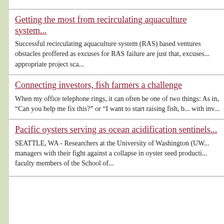Getting the most from recirculating aquaculture system...
Successful recirculating aquaculture system (RAS) based ventures obstacles proffered as excuses for RAS failure are just that, excuses... appropriate project sca...
Connecting investors, fish farmers a challenge
When my office telephone rings, it can often be one of two things: As in, "Can you help me fix this?" or "I want to start raising fish, b... with inv...
Pacific oysters serving as ocean acidification sentinels...
SEATTLE, WA - Researchers at the University of Washington (UW... managers with their fight against a collapse in oyster seed producti... faculty members of the School of...